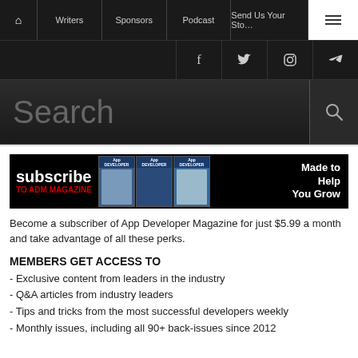Home | Writers | Sponsors | Podcast | Send Us Your Story | Menu
[Figure (screenshot): Social media icons bar: Facebook, Twitter, Instagram, RSS]
[Figure (screenshot): Search bar with magnifying glass icon]
[Figure (infographic): Subscribe to ADM Magazine banner with magazine covers and 'Made to Help You Grow' text]
Become a subscriber of App Developer Magazine for just $5.99 a month and take advantage of all these perks.
MEMBERS GET ACCESS TO
- Exclusive content from leaders in the industry
- Q&A articles from industry leaders
- Tips and tricks from the most successful developers weekly
- Monthly issues, including all 90+ back-issues since 2012